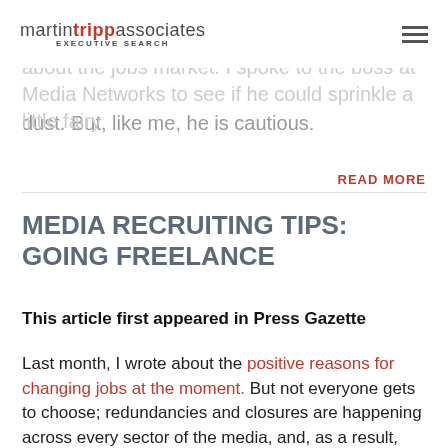martin tripp associates EXECUTIVE SEARCH
it is the end of the year – and I would love to be able to awesome seasonal good cheer about the jobs market. I spoke to the boss at Media Networks to see if he could sprinkle a little fairy dust. But, like me, he is cautious.
READ MORE
MEDIA RECRUITING TIPS: GOING FREELANCE
This article first appeared in Press Gazette
Last month, I wrote about the positive reasons for changing jobs at the moment. But not everyone gets to choose; redundancies and closures are happening across every sector of the media, and, as a result, more and more people are being forced to go freelance. With